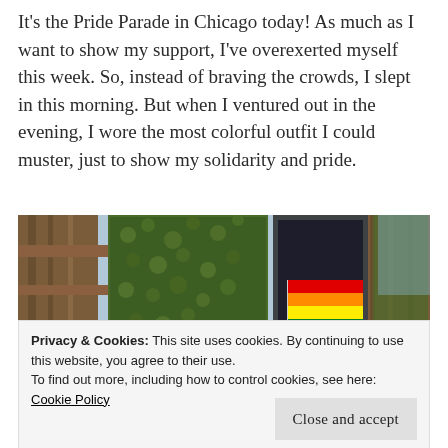It's the Pride Parade in Chicago today! As much as I want to show my support, I've overexerted myself this week. So, instead of braving the crowds, I slept in this morning. But when I ventured out in the evening, I wore the most colorful outfit I could muster, just to show my solidarity and pride.
[Figure (photo): Photograph of a building facade with ivy-covered walls, wooden structural elements, a rainbow pride flag hanging prominently, and blue sky visible in the background.]
Privacy & Cookies: This site uses cookies. By continuing to use this website, you agree to their use.
To find out more, including how to control cookies, see here: Cookie Policy
Close and accept
[Figure (photo): Partial bottom strip showing outdoor scene with greenery.]